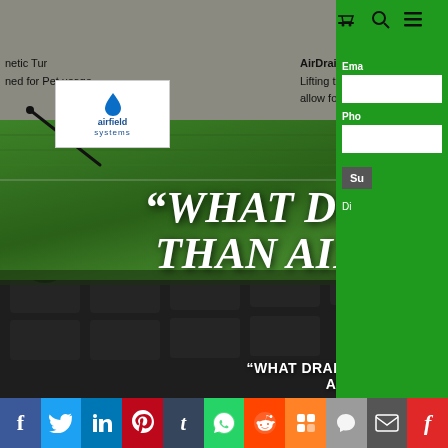netic Tur | AirDrain Geoce | airfield systems logo
netic Tur
ned for Pet usage
[Figure (logo): Airfield Systems logo with water drop icon]
AirDrain Geoce
Lifting the turf of allow for Drainag
“WHAT DRAINS BETTER THAN AIR?... AIRDRAIN DOES”
“WHAT DRAINS BETTER THAN AIR?... AIRDRAIN DOES”
[Figure (photo): 3D rendering of AirDrain geocell drainage system showing green synthetic turf on top of dark plastic drainage grid panels over a concrete base, with arrows pointing to components]
Social share bar: Facebook, Twitter, LinkedIn, Pinterest, Tumblr, WhatsApp, Reddit, Mix, Viber, Email, Flipboard